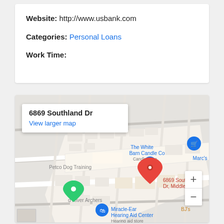Website: http://www.usbank.com
Categories: Personal Loans
Work Time:
[Figure (map): Google Maps embedded map showing 6869 Southland Dr, Middleburg with a red location pin. Nearby labels include The White Barn Candle Co (Candle store), Marc's, Petco Dog Training, d River Archers, Miracle-Ear Hearing Aid Center (Hearing aid store), BJ's. A map popup shows '6869 Southland Dr' and 'View larger map'. Zoom controls (+/-) are visible bottom right.]